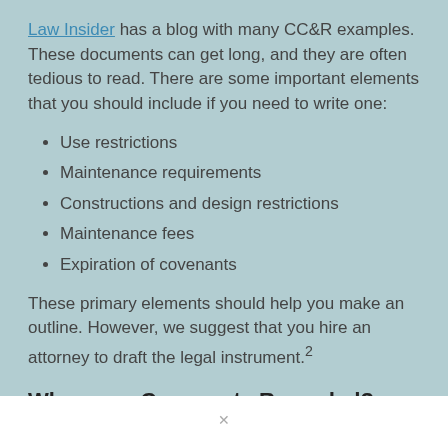Law Insider has a blog with many CC&R examples. These documents can get long, and they are often tedious to read. There are some important elements that you should include if you need to write one:
Use restrictions
Maintenance requirements
Constructions and design restrictions
Maintenance fees
Expiration of covenants
These primary elements should help you make an outline. However, we suggest that you hire an attorney to draft the legal instrument.2
Where are Covenants Recorded?
Covenants are recorded in your local records department with the property deed. Every jurisdiction organizes